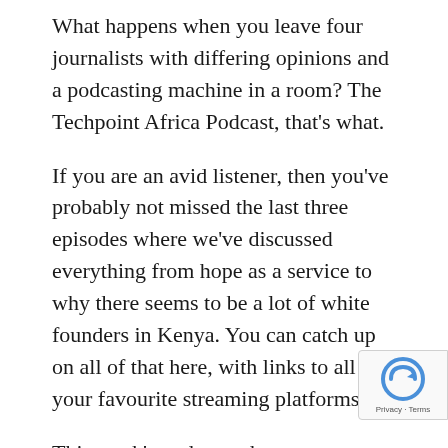What happens when you leave four journalists with differing opinions and a podcasting machine in a room? The Techpoint Africa Podcast, that's what.
If you are an avid listener, then you've probably not missed the last three episodes where we've discussed everything from hope as a service to why there seems to be a lot of white founders in Kenya. You can catch up on all of that here, with links to all your favourite streaming platforms.
This week's podcast takes you on a continental tour, beginning with Nigeria, going on to Kenya, and then Sudan and Uganda.
First on the list is the recent news of the Kogi Internal Revenue Service (KIRS) sealing 70 telecom base stations, including hub sites that serve as connecting points for other states. From what we've learned so far, the KIRS